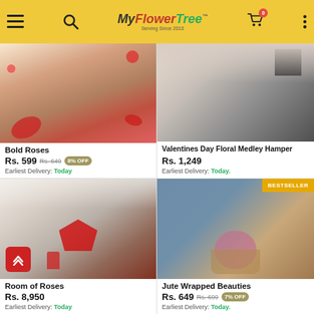MyFlowerTree - Serving Since 2010
[Figure (photo): Bold Roses product image - red roses on wooden floor]
Bold Roses
Rs. 599 Rs. 649 8% OFF
Earliest Delivery: Today
[Figure (photo): Valentines Day Floral Medley Hamper product image]
Valentines Day Floral Medley Hamper
Rs. 1,249
Earliest Delivery: Today
[Figure (photo): Room of Roses - living room decorated with red roses and heart shaped rose arrangement]
Room of Roses
Rs. 8,950
Earliest Delivery: Today
[Figure (photo): Jute Wrapped Beauties - pink roses bouquet wrapped in jute on wooden table. BESTSELLER badge.]
Jute Wrapped Beauties
Rs. 649 Rs. 699 7% OFF
Earliest Delivery: Today